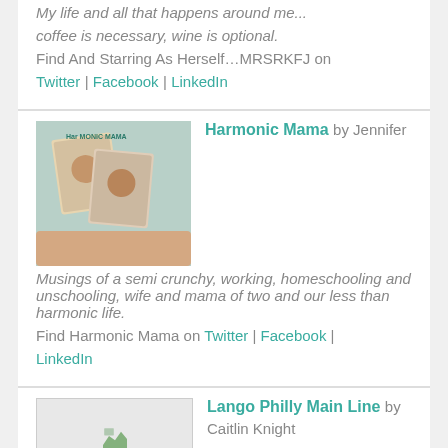My life and all that happens around me...
coffee is necessary, wine is optional.
Find And Starring As Herself…MRSRKFJ on
Twitter | Facebook | LinkedIn
[Figure (photo): Harmonic Mama blog thumbnail image]
Harmonic Mama by Jennifer
Musings of a semi crunchy, working, homeschooling and unschooling, wife and mama of two and our less than harmonic life.
Find Harmonic Mama on Twitter | Facebook | LinkedIn
[Figure (photo): Lango Philly Main Line blog thumbnail image (broken)]
Lango Philly Main Line by Caitlin Knight
French, Spanish and Mandarin classes for Kids on the Main Line!